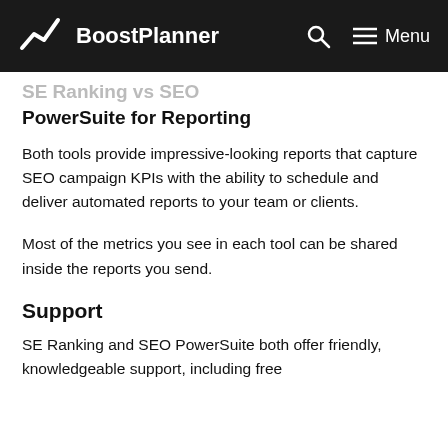BoostPlanner
SE Ranking vs SEO PowerSuite for Reporting
Both tools provide impressive-looking reports that capture SEO campaign KPIs with the ability to schedule and deliver automated reports to your team or clients.
Most of the metrics you see in each tool can be shared inside the reports you send.
Support
SE Ranking and SEO PowerSuite both offer friendly, knowledgeable support, including free